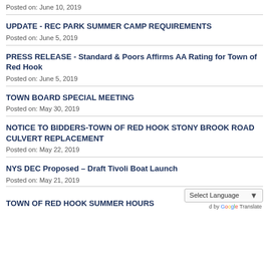Posted on: June 10, 2019
UPDATE - REC PARK SUMMER CAMP REQUIREMENTS
Posted on: June 5, 2019
PRESS RELEASE - Standard & Poors Affirms AA Rating for Town of Red Hook
Posted on: June 5, 2019
TOWN BOARD SPECIAL MEETING
Posted on: May 30, 2019
NOTICE TO BIDDERS-TOWN OF RED HOOK STONY BROOK ROAD CULVERT REPLACEMENT
Posted on: May 22, 2019
NYS DEC Proposed – Draft Tivoli Boat Launch
Posted on: May 21, 2019
TOWN OF RED HOOK SUMMER HOURS